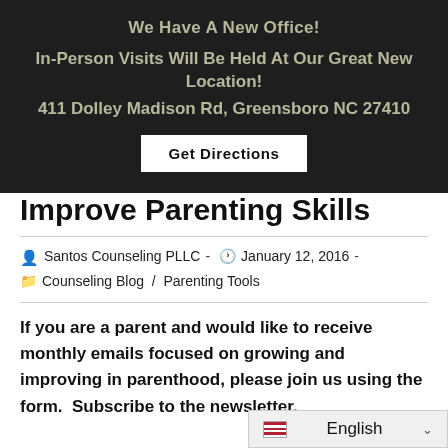We Have A New Office!
In-Person Visits Will Be Held At Our Great New Location!
411 Dolley Madison Rd, Greensboro NC 27410
Get Directions
Improve Parenting Skills
Santos Counseling PLLC  -  January 12, 2016  -  Counseling Blog / Parenting Tools
If you are a parent and would like to receive monthly emails focused on growing and improving in parenthood, please join us using the form.  Subscribe to the newsletter.
English